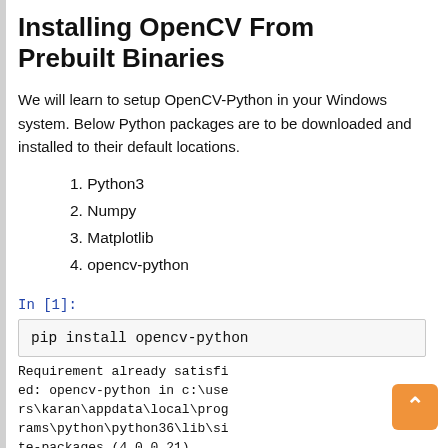Installing OpenCV From Prebuilt Binaries
We will learn to setup OpenCV-Python in your Windows system. Below Python packages are to be downloaded and installed to their default locations.
1. Python3
2. Numpy
3. Matplotlib
4. opencv-python
In [1]:
pip install opencv-python
Requirement already satisfied: opencv-python in c:\users\karan\appdata\local\programs\python\python36\lib\site-packages (4.0.0.21)
Requirement already satisfied: numpy>=1.11.3 in c:\use